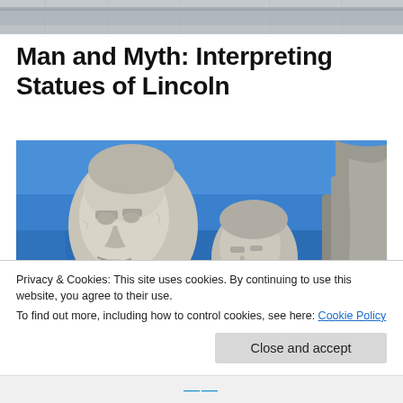Man and Myth: Interpreting Statues of Lincoln
[Figure (photo): Photo of Mount Rushmore showing carved stone faces of presidents against a blue sky, close-up view of Washington and Jefferson faces]
Privacy & Cookies: This site uses cookies. By continuing to use this website, you agree to their use.
To find out more, including how to control cookies, see here: Cookie Policy
Close and accept